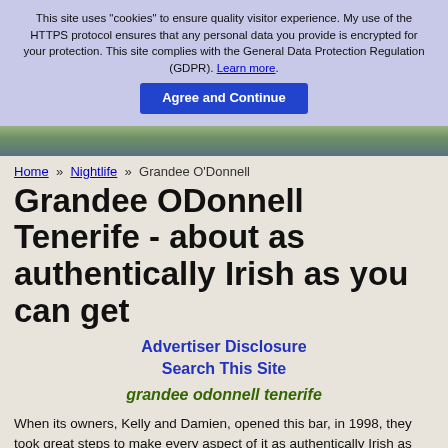This site uses "cookies" to ensure quality visitor experience. My use of the HTTPS protocol ensures that any personal data you provide is encrypted for your protection. This site complies with the General Data Protection Regulation (GDPR). Learn more.
Agree and Continue
[Figure (photo): Header landscape photo of a coastal or park scene]
Home » Nightlife » Grandee O'Donnell
Grandee ODonnell Tenerife - about as authentically Irish as you can get
Advertiser Disclosure
Search This Site
grandee odonnell tenerife
When its owners, Kelly and Damien, opened this bar, in 1998, they took great steps to make every aspect of it as authentically Irish as